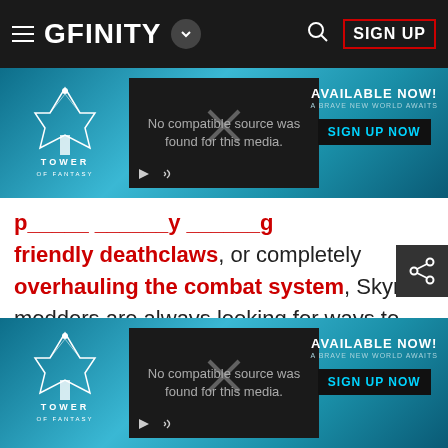GFINITY — SIGN UP
[Figure (screenshot): Tower of Fantasy ad banner with video player showing 'No compatible source was found for this media.' and AVAILABLE NOW! SIGN UP NOW button]
friendly deathclaws, or completely overhauling the combat system, Skyrim modders are always looking for ways to make the fight to survive in its perilous world a little harder.
[Figure (screenshot): Tower of Fantasy ad banner with video player showing 'No compatible source was found for this media.' and AVAILABLE NOW! SIGN UP NOW button (duplicate at bottom)]